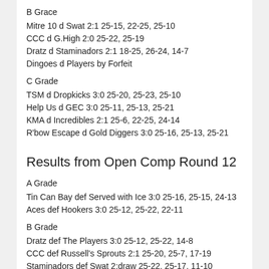B Grace
Mitre 10 d Swat 2:1 25-15, 22-25, 25-10
CCC d G.High 2:0 25-22, 25-19
Dratz d Staminadors 2:1 18-25, 26-24, 14-7
Dingoes d Players by Forfeit
C Grade
TSM d Dropkicks 3:0 25-20, 25-23, 25-10
Help Us d GEC 3:0 25-11, 25-13, 25-21
KMA d Incredibles 2:1 25-6, 22-25, 24-14
R'bow Escape d Gold Diggers 3:0 25-16, 25-13, 25-21
Results from Open Comp Round 12
A Grade
Tin Can Bay def Served with Ice 3:0 25-16, 25-15, 24-13
Aces def Hookers 3:0 25-12, 25-22, 22-11
B Grade
Dratz def The Players 3:0 25-12, 25-22, 14-8
CCC def Russell's Sprouts 2:1 25-20, 25-7, 17-19
Staminadors def Swat 2:draw 25-22, 25-17, 11-10
Mitre 10 def Downy Dingoes 3:0 25-18, 25-21, 12-9